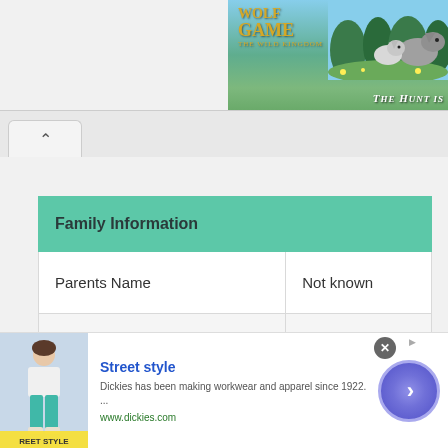[Figure (photo): Wolf Game: The Wild Kingdom advertisement banner showing wolves in a field with text 'THE HUNT IS']
| Family Information |  |
| --- | --- |
| Parents Name | Not known |
| Spouse Name | Not known |
[Figure (infographic): Street style advertisement for Dickies workwear showing a woman in casual clothing. Text: 'Street style - Dickies has been making workwear and apparel since 1922. ... - www.dickies.com']